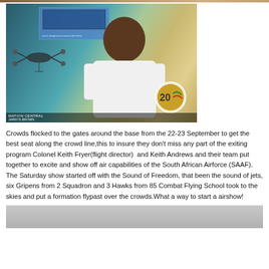[Figure (photo): Photo of a young man in a white t-shirt smiling at an airshow exhibition, standing in front of a drone display and a screen. Text at bottom reads 'MATION CENTRAL' and smaller text below. An Africa Aerospace and Defence logo is visible.]
Crowds flocked to the gates around the base from the 22-23 September to get the best seat along the crowd line,this to insure they don't miss any part of the exiting program Colonel Keith Fryer(flight director)  and Keith Andrews and their team put together to excite and show off air capabilities of the South African Airforce (SAAF). The Saturday show started off with the Sound of Freedom, that been the sound of jets, six Gripens from 2 Squadron and 3 Hawks from 85 Combat Flying School took to the skies and put a formation flypast over the crowds.What a way to start a airshow!
[Figure (photo): Gray/silver photo at the bottom of the page, partially visible.]